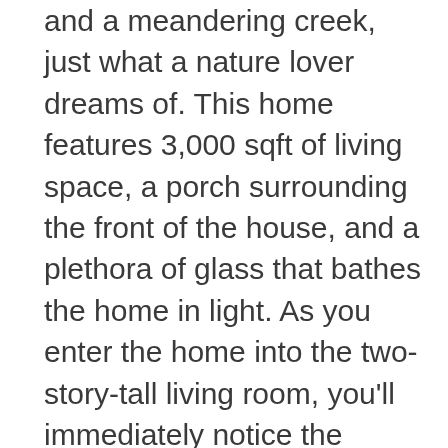and a meandering creek, just what a nature lover dreams of. This home features 3,000 sqft of living space, a porch surrounding the front of the house, and a plethora of glass that bathes the home in light. As you enter the home into the two-story-tall living room, you'll immediately notice the curated details from exposed beams and timber ceilings to the clerestory windows that look out onto the garden and Aquetong creek. This home comes with four bedrooms, two full bathrooms, and two half bathrooms. The primary bedroom comes complete with a walk-in closet, and the primary bath has a large porch